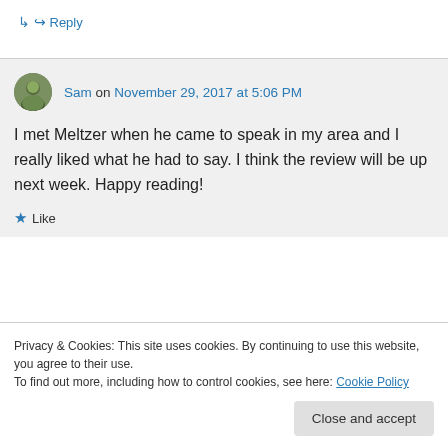↳ Reply
Sam on November 29, 2017 at 5:06 PM
I met Meltzer when he came to speak in my area and I really liked what he had to say. I think the review will be up next week. Happy reading!
Like
Privacy & Cookies: This site uses cookies. By continuing to use this website, you agree to their use. To find out more, including how to control cookies, see here: Cookie Policy
Close and accept